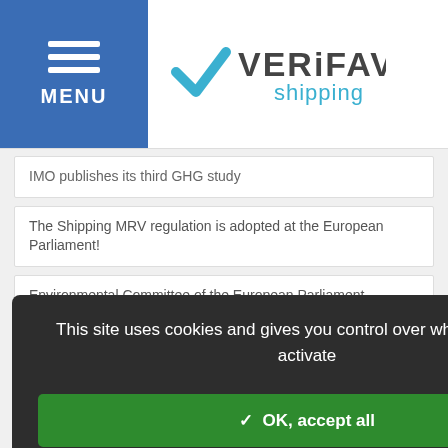MENU | VERIFAVIA shipping
IMO publishes its third GHG study
The Shipping MRV regulation is adopted at the European Parliament!
Environmental Committee of the European Parliament publishes its report on the Shipping MRV
…towards cutting
on Trading Market
shipping's carbon
ends tax on CO2
This site uses cookies and gives you control over what you want to activate
✓ OK, accept all
✗ Deny all cookies
Personalize